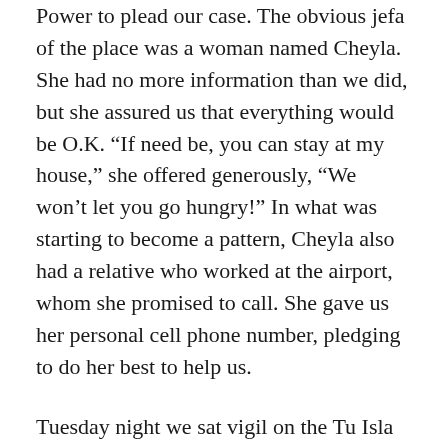Power to plead our case. The obvious jefa of the place was a woman named Cheyla. She had no more information than we did, but she assured us that everything would be O.K. “If need be, you can stay at my house,” she offered generously, “We won’t let you go hungry!” In what was starting to become a pattern, Cheyla also had a relative who worked at the airport, whom she promised to call. She gave us her personal cell phone number, pledging to do her best to help us.
Tuesday night we sat vigil on the Tu Isla terrace while the manager made calls to find out if there would be a flight on Wednesday